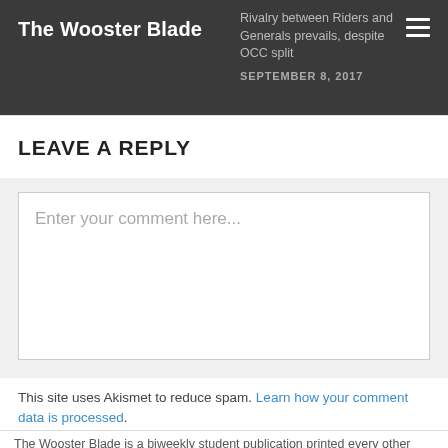The Wooster Blade
Rivalry between Riders and Generals prevails, despite OCC split
SEPTEMBER 8, 2017
LEAVE A REPLY
Enter your comment here...
This site uses Akismet to reduce spam. Learn how your comment data is processed.
The Wooster Blade is a biweekly student publication printed every other Friday by the Newspaper Production classes at Wooster High